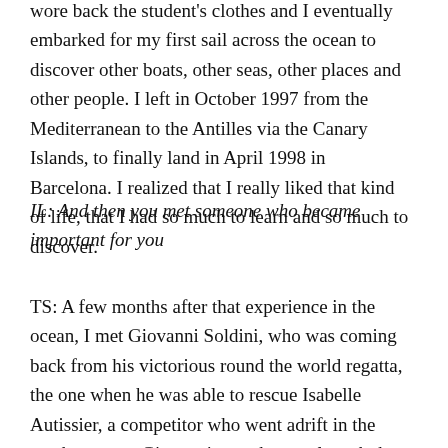wore back the student's clothes and I eventually embarked for my first sail across the ocean to discover other boats, other seas, other places and other people. I left in October 1997 from the Mediterranean to the Antilles via the Canary Islands, to finally land in April 1998 in Barcelona. I realized that I really liked that kind of life, that I had so much to learn and so much to discover.
IL: And then you met someone who became important for you
TS: A few months after that experience in the ocean, I met Giovanni Soldini, who was coming back from his victorious round the world regatta, the one when he was able to rescue Isabelle Autissier, a competitor who went adrift in the southern seas. Giovanni was about to launch the construction of a new sail